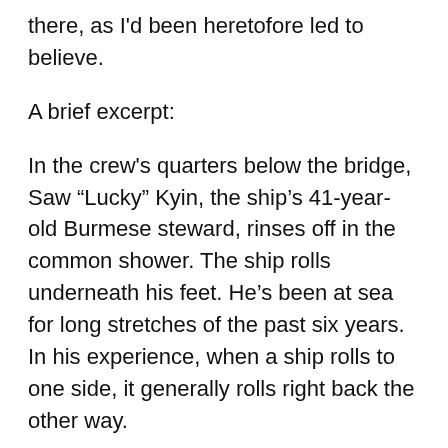there, as I'd been heretofore led to believe.
A brief excerpt:
In the crew's quarters below the bridge, Saw “Lucky” Kyin, the ship’s 41-year-old Burmese steward, rinses off in the common shower. The ship rolls underneath his feet. He’s been at sea for long stretches of the past six years. In his experience, when a ship rolls to one side, it generally rolls right back the other way.
This time it doesn’t. Instead, the tilt increases. For some reason, the starboard ballast tanks have failed to refill properly, and the ship has abruptly lost its balance. At the worst possible moment, a large swell hits the Cougar Ace and rolls the ship